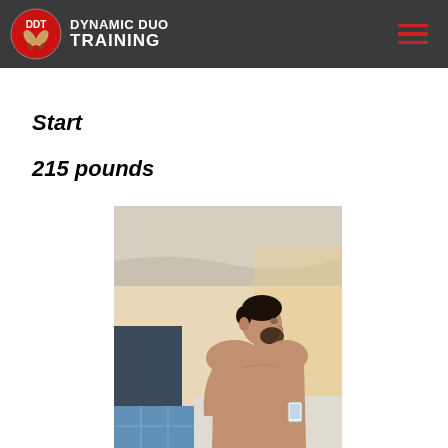Dynamic Duo Training
Start
215 pounds
[Figure (photo): A man photographing himself shirtless in a bathroom mirror, side profile, with blue and white tiled walls visible in the background.]